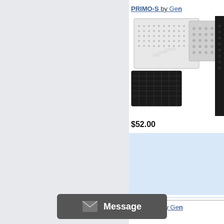PRIMO-S by Gen
[Figure (photo): Product photo of PRIMO-S showing packaged lab equipment with black and white grid/dot patterns]
$52.00
STANO-S by Gen
$29.00
Message